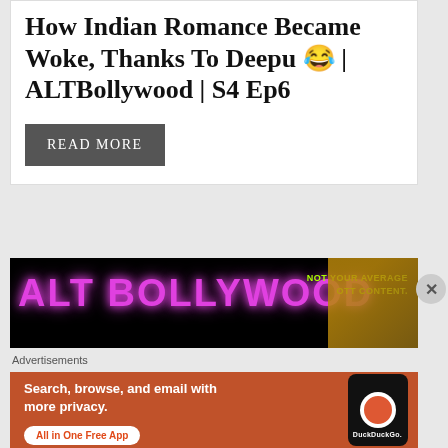How Indian Romance Became Woke, Thanks To Deepu 😂 | ALTBollywood | S4 Ep6
READ MORE
[Figure (screenshot): ALT Bollywood banner with neon pink text 'ALT BOLLYWOOD' on black background, green text 'NOT YOUR AVERAGE OTT CONTENT.' on right side]
Advertisements
[Figure (screenshot): DuckDuckGo advertisement on orange background: 'Search, browse, and email with more privacy. All in One Free App' with phone image showing DuckDuckGo logo]